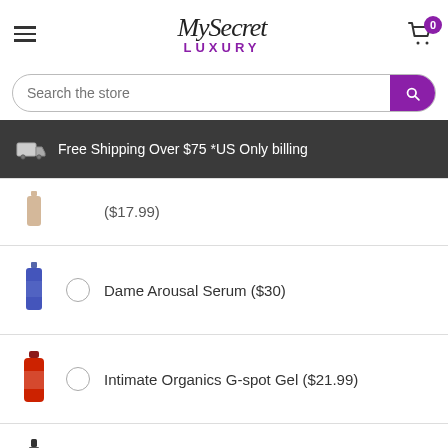[Figure (logo): MySecret Luxury logo with hamburger menu and cart icon]
[Figure (screenshot): Search the store input bar with purple search button]
Free Shipping Over $75 *US Only billing
($17.99)
Dame Arousal Serum ($30)
Intimate Organics G-spot Gel ($21.99)
Think Clean Thoughts Toy Cleaner ($9.99)